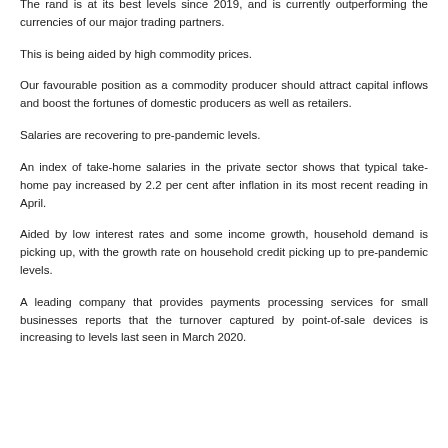The rand is at its best levels since 2019, and is currently outperforming the currencies of our major trading partners.
This is being aided by high commodity prices.
Our favourable position as a commodity producer should attract capital inflows and boost the fortunes of domestic producers as well as retailers.
Salaries are recovering to pre-pandemic levels.
An index of take-home salaries in the private sector shows that typical take-home pay increased by 2.2 per cent after inflation in its most recent reading in April.
Aided by low interest rates and some income growth, household demand is picking up, with the growth rate on household credit picking up to pre-pandemic levels.
A leading company that provides payments processing services for small businesses reports that the turnover captured by point-of-sale devices is increasing to levels last seen in March 2020.